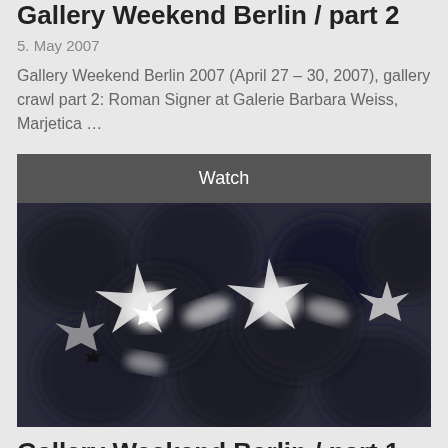Gallery Weekend Berlin / part 2
5. May 2007
Gallery Weekend Berlin 2007 (April 27 – 30, 2007), gallery crawl part 2: Roman Signer at Galerie Barbara Weiss, Marjetica …
Watch
[Figure (photo): Black and white macro photograph showing a repeating pattern of star-like or asterisk-shaped white forms against a dark background, resembling microscopic organisms or crystalline structures.]
Gallery Weekend Berlin / part 1
4. May 2007